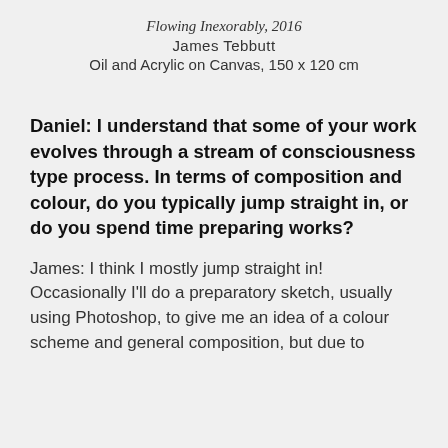Flowing Inexorably, 2016
James Tebbutt
Oil and Acrylic on Canvas, 150 x 120 cm
Daniel: I understand that some of your work evolves through a stream of consciousness type process. In terms of composition and colour, do you typically jump straight in, or do you spend time preparing works?
James: I think I mostly jump straight in! Occasionally I'll do a preparatory sketch, usually using Photoshop, to give me an idea of a colour scheme and general composition, but due to